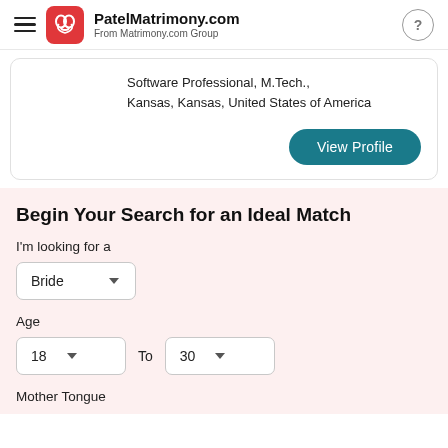PatelMatrimony.com
From Matrimony.com Group
Software Professional, M.Tech.,
Kansas, Kansas, United States of America
View Profile
Begin Your Search for an Ideal Match
I'm looking for a
Bride
Age
18  To  30
Mother Tongue